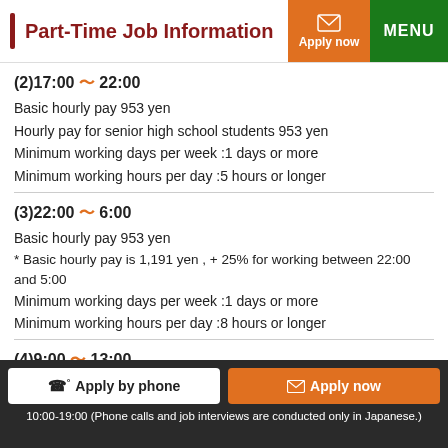Part-Time Job Information
(2)17:00 〜 22:00
Basic hourly pay 953 yen
Hourly pay for senior high school students 953 yen
Minimum working days per week :1 days or more
Minimum working hours per day :5 hours or longer
(3)22:00 〜 6:00
Basic hourly pay 953 yen
* Basic hourly pay is 1,191 yen , + 25% for working between 22:00 and 5:00
Minimum working days per week :1 days or more
Minimum working hours per day :8 hours or longer
(4)9:00 〜 13:00
Apply by phone   Apply now   10:00-19:00 (Phone calls and job interviews are conducted only in Japanese.)